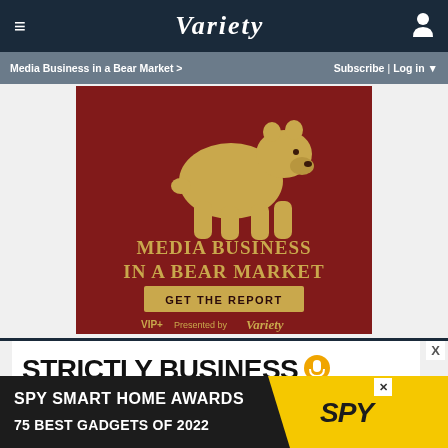Variety — navigation bar with hamburger menu, Variety logo, user icon
Media Business in a Bear Market > | Subscribe | Log in
[Figure (illustration): Advertisement banner for 'Media Business in a Bear Market' report. Dark red/maroon background with a golden illustrated bear walking. Text reads: MEDIA BUSINESS IN A BEAR MARKET — GET THE REPORT. VIP+ Presented by Variety.]
STRICTLY BUSINESS (with microphone icon)
[Figure (illustration): SPY Smart Home Awards advertisement banner: black background with yellow diagonal stripe and SPY logo. Text: SPY SMART HOME AWARDS / 75 BEST GADGETS OF 2022]